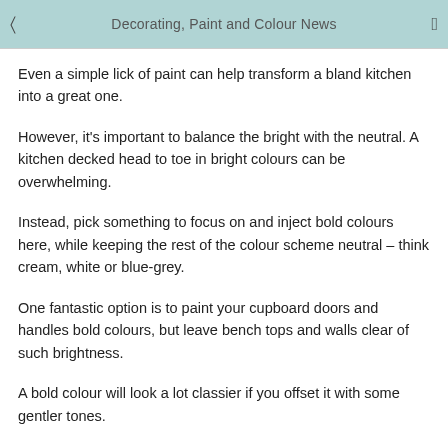Decorating, Paint and Colour News
Even a simple lick of paint can help transform a bland kitchen into a great one.
However, it's important to balance the bright with the neutral. A kitchen decked head to toe in bright colours can be overwhelming.
Instead, pick something to focus on and inject bold colours here, while keeping the rest of the colour scheme neutral – think cream, white or blue-grey.
One fantastic option is to paint your cupboard doors and handles bold colours, but leave bench tops and walls clear of such brightness.
A bold colour will look a lot classier if you offset it with some gentler tones.
Fire up a feature wall